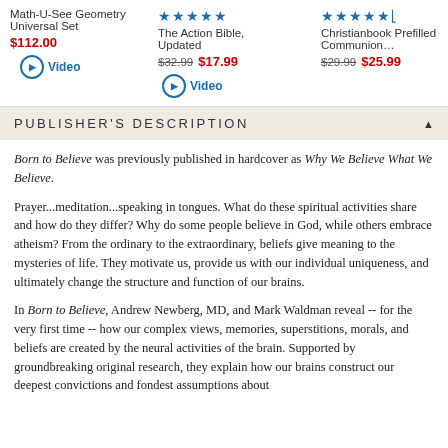Math-U-See Geometry Universal Set
$112.00
Video
★★★★★
The Action Bible, Updated
$32.99  $17.99
Video
★★★★½
Christianbook Prefilled Communion…
$29.99  $25.99
PUBLISHER'S DESCRIPTION
Born to Believe was previously published in hardcover as Why We Believe What We Believe.
Prayer...meditation...speaking in tongues. What do these spiritual activities share and how do they differ? Why do some people believe in God, while others embrace atheism? From the ordinary to the extraordinary, beliefs give meaning to the mysteries of life. They motivate us, provide us with our individual uniqueness, and ultimately change the structure and function of our brains.
In Born to Believe, Andrew Newberg, MD, and Mark Waldman reveal -- for the very first time -- how our complex views, memories, superstitions, morals, and beliefs are created by the neural activities of the brain. Supported by groundbreaking original research, they explain how our brains construct our deepest convictions and fondest assumptions about